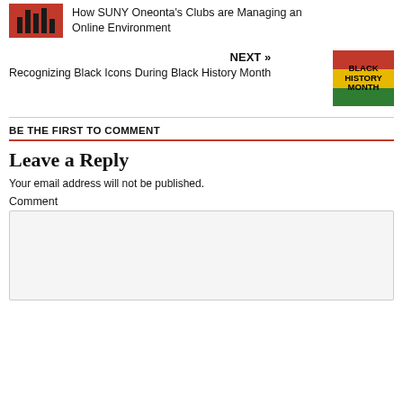How SUNY Oneonta's Clubs are Managing an Online Environment
NEXT »
Recognizing Black Icons During Black History Month
[Figure (illustration): Black History Month image with red, black, yellow and green stripes and bold text reading BLACK HISTORY MONTH]
BE THE FIRST TO COMMENT
Leave a Reply
Your email address will not be published.
Comment